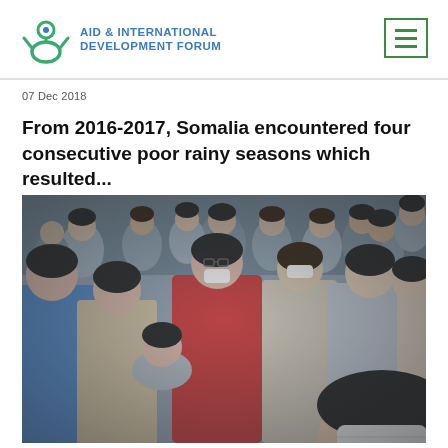AID & INTERNATIONAL DEVELOPMENT FORUM
07 Dec 2018
From 2016-2017, Somalia encountered four consecutive poor rainy seasons which resulted...
[Figure (photo): A crowd of people, many wearing white face masks, in an outdoor urban setting in winter clothing.]